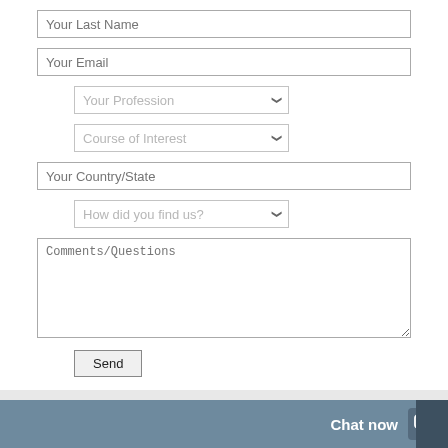[Figure (screenshot): Web form with input fields: Your Last Name (text), Your Email (text), Your Profession (dropdown), Course of Interest (dropdown), Your Country/State (text), How did you find us? (dropdown), Comments/Questions (textarea), and a Send button. A chat widget bar at the bottom reads 'Chat now'.]